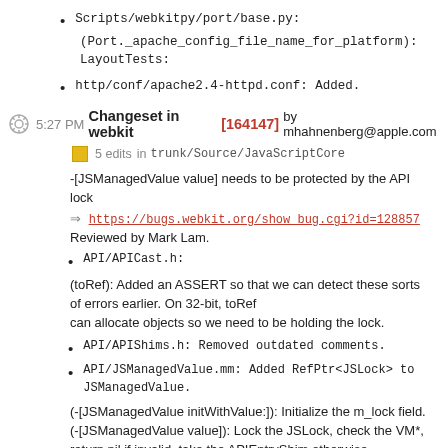Scripts/webkitpy/port/base.py:
(Port._apache_config_file_name_for_platform):
LayoutTests:
http/conf/apache2.4-httpd.conf: Added.
5:27 PM Changeset in webkit [164147] by mhahnenberg@apple.com
5 edits  in trunk/Source/JavaScriptCore
-[JSManagedValue value] needs to be protected by the API lock
⇒ https://bugs.webkit.org/show_bug.cgi?id=128857
Reviewed by Mark Lam.
API/APICast.h:
(toRef): Added an ASSERT so that we can detect these sorts of errors earlier. On 32-bit, toRef
can allocate objects so we need to be holding the lock.
API/APIShims.h: Removed outdated comments.
API/JSManagedValue.mm: Added RefPtr<JSLock> to JSManagedValue.
(-[JSManagedValue initWithValue:]): Initialize the m_lock field.
(-[JSManagedValue value]): Lock the JSLock, check the VM*, return nil if invalid, take the APIEntryShim otherwise.
runtime/JSLock.cpp: Bug fix in JSLock. We were assuming that the VM was always non-null in JSLock::lock.